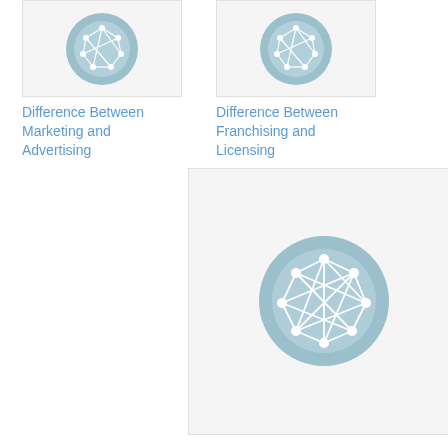[Figure (illustration): Network/graph icon on teal circle - Difference Between Marketing and Advertising]
Difference Between Marketing and Advertising
[Figure (illustration): Network/graph icon on teal circle - Difference Between Franchising and Licensing]
Difference Between Franchising and Licensing
[Figure (illustration): Network/graph icon on teal circle (larger) - Difference Between Lean and Six Sigma]
Difference Between Lean and Six Sigma
Filed Under: General, Marketing & Sales
Tagged With: CRM, DSS, ERP, Financial management, HR information system, HRIS, MIS, SCM, Supply Chain Management